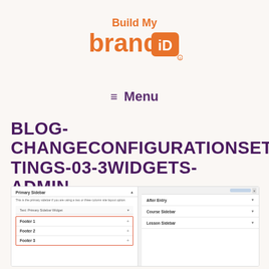[Figure (logo): Build My Brand iD logo in orange and dark purple text]
≡  Menu
BLOG-CHANGECONFIGURATIONSETTINGS-03-3WIDGETS-ADMIN
[Figure (screenshot): WordPress widget admin screenshot showing Primary Sidebar panel with Footer 1, Footer 2, Footer 3 boxes highlighted in red outline, and right panel showing After Entry, Course Sidebar, Lesson Sidebar]